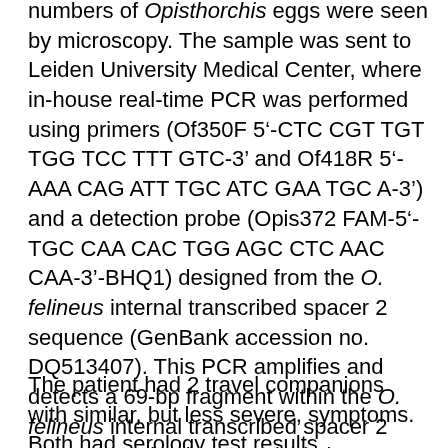numbers of Opisthorchis eggs were seen by microscopy. The sample was sent to Leiden University Medical Center, where in-house real-time PCR was performed using primers (Of350F 5'-CTC CGT TGT TGG TCC TTT GTC-3' and Of418R 5'-AAA CAG ATT TGC ATC GAA TGC A-3') and a detection probe (Opis372 FAM-5'-TGC CAA CAC TGG AGC CTC AAC CAA-3'-BHQ1) designed from the O. felineus internal transcribed spacer 2 sequence (GenBank accession no. DQ513407). This PCR amplifies and detects a 69-bp fragment within the O. felineus internal transcribed spacer 2 sequence. Simultaneous isolation, amplification, and detection of a standard amount of phocid herpesvirus were used for internal control of inhibition (10). The O. felineus real-time PCR result was positive (cycle threshold 24.7).
The patient had 2 travel companions with similar, but less severe, symptoms. Both had serology test results